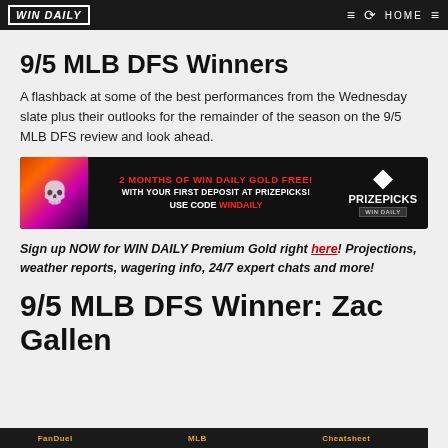WIN DAILY | HOME
9/5 MLB DFS Winners
A flashback at some of the best performances from the Wednesday slate plus their outlooks for the remainder of the season on the 9/5 MLB DFS review and look ahead.
[Figure (infographic): PrizePicks promotional banner: 2 MONTHS OF WIN DAILY GOLD FREE! WITH YOUR FIRST DEPOSIT AT PRIZEPICKS! USE CODE WINDAILY]
Sign up NOW for WIN DAILY Premium Gold right here! Projections, weather reports, wagering info, 24/7 expert chats and more!
9/5 MLB DFS Winner: Zac Gallen
FanDuel | MLB | Cheatsheet